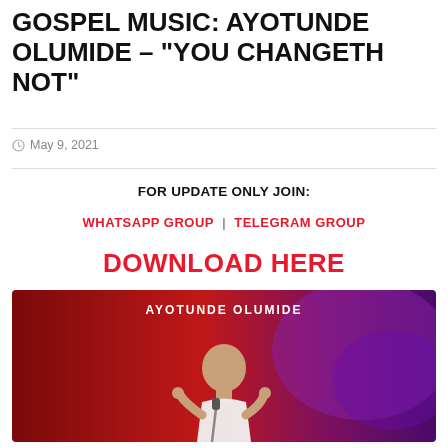GOSPEL MUSIC: AYOTUNDE OLUMIDE – “YOU CHANGETH NOT”
May 9, 2021
FOR UPDATE ONLY JOIN:
WHATSAPP GROUP | TELEGRAM GROUP
DOWNLOAD HERE
[Figure (photo): Ayotunde Olumide performing on stage with a microphone, against a red and purple gradient background. Text reads AYOTUNDE OLUMIDE at the top.]